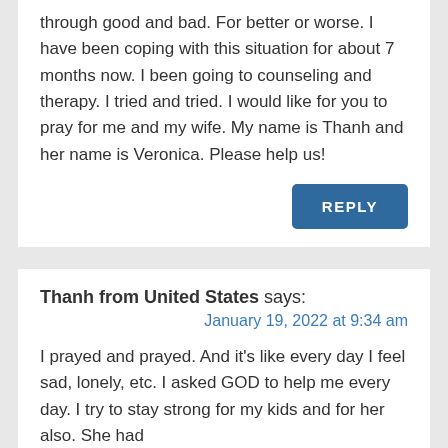through good and bad. For better or worse. I have been coping with this situation for about 7 months now. I been going to counseling and therapy. I tried and tried. I would like for you to pray for me and my wife. My name is Thanh and her name is Veronica. Please help us!
REPLY
Thanh from United States says:
January 19, 2022 at 9:34 am
I prayed and prayed. And it's like every day I feel sad, lonely, etc. I asked GOD to help me every day. I try to stay strong for my kids and for her also. She had